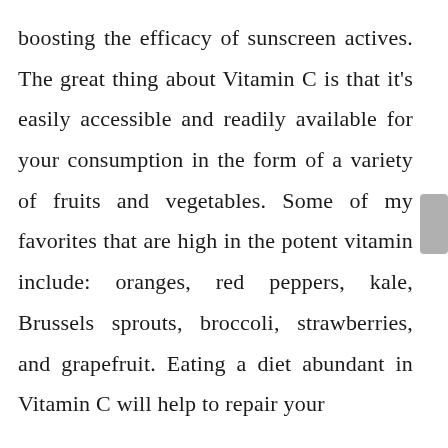boosting the efficacy of sunscreen actives. The great thing about Vitamin C is that it's easily accessible and readily available for your consumption in the form of a variety of fruits and vegetables. Some of my favorites that are high in the potent vitamin include: oranges, red peppers, kale, Brussels sprouts, broccoli, strawberries, and grapefruit. Eating a diet abundant in Vitamin C will help to repair your